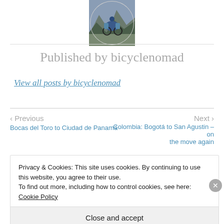[Figure (photo): Circular avatar photo of a cyclist with loaded bicycle bags riding through rocky mountain terrain]
Published by bicyclenomad
View all posts by bicyclenomad
← Previous
Bocas del Toro to Ciudad de Panamá
Next →
Colombia: Bogotá to San Agustin – on the move again
Privacy & Cookies: This site uses cookies. By continuing to use this website, you agree to their use.
To find out more, including how to control cookies, see here: Cookie Policy
Close and accept